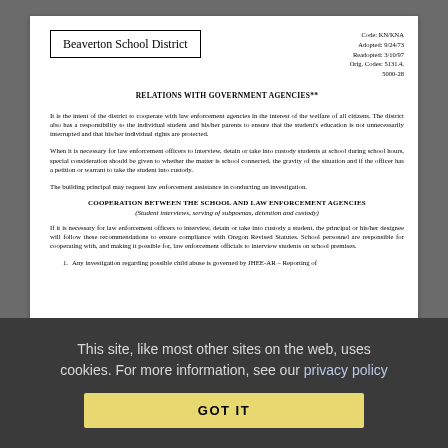Beaverton School District | Code: KN/KNA | Adopted: 9/24/73 | Readopted: 3/10/97 | Orig. Codes: 5131.4, 5000-28
RELATIONS WITH GOVERNMENT AGENCIES**
It is the intent of the district to cooperate with law enforcement agencies in the interest of the welfare of all citizens. The district also has a responsibility to the individual student and his/her parents to ensure that the student's education is not unnecessarily interrupted and that his/her individual rights are protected.
When it is necessary for law enforcement officers to interview, detain or take into custody students at school during school hours, special consideration should be given to whether the matter is school connected, the gravity of the situation and if the officer has a petition or warrant to take the student into custody.
The building principal may request law enforcement assistance in conducting an investigation.
COOPERATION BETWEEN THE SCHOOL AND LAW ENFORCEMENT AGENCIES
(Student interviews, serving of subpoenas, detention and custody)
If it is necessary for law enforcement officers to interview, detain or take into custody a student, the principal or his/her designee will follow these recommendations to ensure compliance with Oregon Revised Statutes. School personnel are responsible for cooperating with, and making it possible for, law enforcement officials to interview students on school premises.
1. Any investigation regarding possible child abuse is governed by JHEE-AR – Reporting of
This site, like most other sites on the web, uses cookies. For more information, see our privacy policy
GOT IT